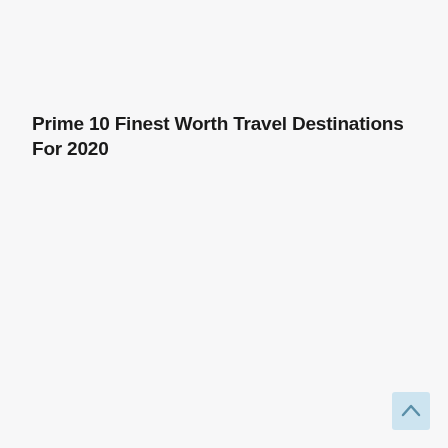Prime 10 Finest Worth Travel Destinations For 2020
[Figure (other): Small scroll-to-top button with an upward-pointing caret arrow, light blue background, positioned in the bottom-right corner of the page.]